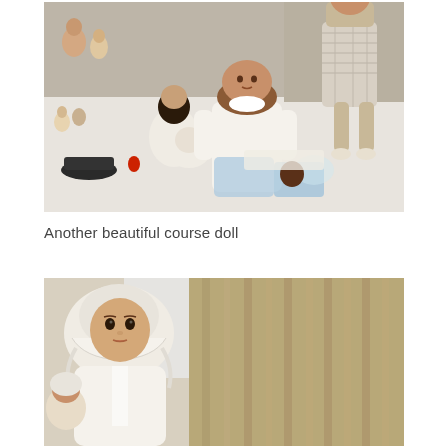[Figure (photo): A collection of dolls arranged on a white surface. Several dolls of various sizes and styles are visible including a large seated doll in a white dress with brown hair, a doll in a plaid dress standing at right, smaller dolls in the background, and various doll accessories and clothing items scattered on the table.]
Another beautiful course doll
[Figure (photo): Close-up of an antique or vintage doll wearing a white bonnet and white dress, with a serious expression. On the right side of the image are beige/tan curtains. The doll appears to be a bisque or porcelain-headed doll.]